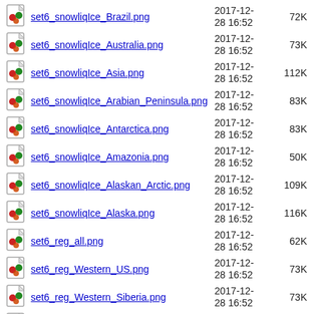set6_snowliqIce_Brazil.png  2017-12-28 16:52  72K
set6_snowliqIce_Australia.png  2017-12-28 16:52  73K
set6_snowliqIce_Asia.png  2017-12-28 16:52  112K
set6_snowliqIce_Arabian_Peninsula.png  2017-12-28 16:52  83K
set6_snowliqIce_Antarctica.png  2017-12-28 16:52  83K
set6_snowliqIce_Amazonia.png  2017-12-28 16:52  50K
set6_snowliqIce_Alaskan_Arctic.png  2017-12-28 16:52  109K
set6_snowliqIce_Alaska.png  2017-12-28 16:52  116K
set6_reg_all.png  2017-12-28 16:52  62K
set6_reg_Western_US.png  2017-12-28 16:52  73K
set6_reg_Western_Siberia.png  2017-12-28 16:52  73K